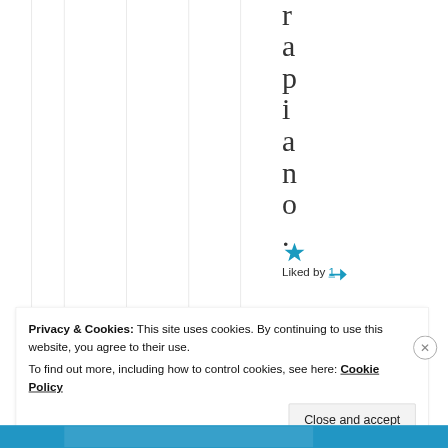[Figure (screenshot): Vertical text spelling 'rapiano.' one letter per line on right side of page, with vertical column grid lines on the left portion]
Liked by 1
Privacy & Cookies: This site uses cookies. By continuing to use this website, you agree to their use.
To find out more, including how to control cookies, see here: Cookie Policy
Close and accept